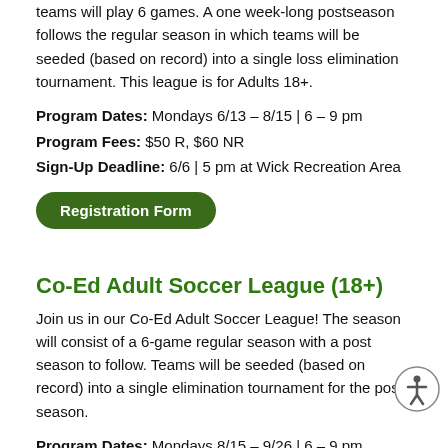teams will play 6 games. A one week-long postseason follows the regular season in which teams will be seeded (based on record) into a single loss elimination tournament. This league is for Adults 18+.
Program Dates: Mondays 6/13 – 8/15 | 6 – 9 pm
Program Fees: $50 R, $60 NR
Sign-Up Deadline: 6/6 | 5 pm at Wick Recreation Area
[Figure (other): Green rounded button labeled 'Registration Form']
Co-Ed Adult Soccer League (18+)
Join us in our Co-Ed Adult Soccer League! The season will consist of a 6-game regular season with a post season to follow. Teams will be seeded (based on record) into a single elimination tournament for the post season.
Program Dates: Mondays 8/15 – 9/26 | 6 – 9 pm